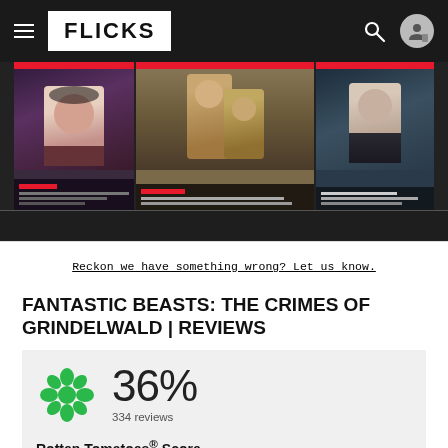FLICKS
[Figure (screenshot): Banner with three movie promotional images side by side with red accent bars and text placeholder lines below each]
Reckon we have something wrong? Let us know.
FANTASTIC BEASTS: THE CRIMES OF GRINDELWALD | REVIEWS
36%
334 reviews
Rotten Tomatoes® Score